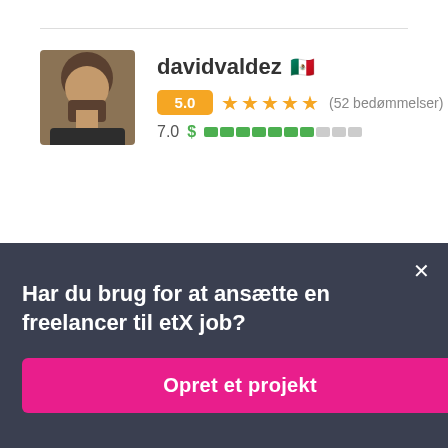[Figure (photo): Profile photo of davidvaldez, a man with dark beard]
davidvaldez 🇲🇽 5.0 ★★★★★ (52 bedømmelser) 7.0 $ ▓▓▓▓▓▓░░░
[Figure (photo): Profile photo of triptisam1993, a woman with long dark hair]
triptisam1993 🇮🇳 5.0 ★★★★★ (95 bedømmelser)
Har du brug for at ansætte en freelancer til et job?
Opret et projekt